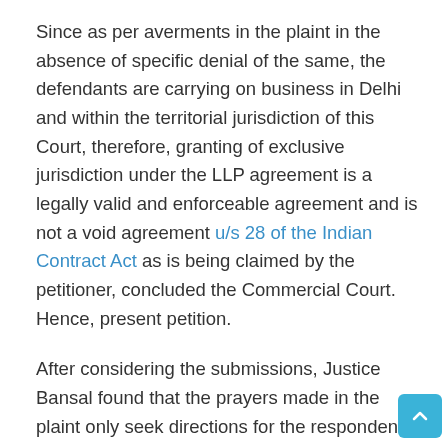Since as per averments in the plaint in the absence of specific denial of the same, the defendants are carrying on business in Delhi and within the territorial jurisdiction of this Court, therefore, granting of exclusive jurisdiction under the LLP agreement is a legally valid and enforceable agreement and is not a void agreement u/s 28 of the Indian Contract Act as is being claimed by the petitioner, concluded the Commercial Court. Hence, present petition.
After considering the submissions, Justice Bansal found that the prayers made in the plaint only seek directions for the respondent to be provided access at all times to the business accounts in his possession and it has nowhere been pleaded in the plaint that the business accounts, in respect of which access is sought by the respondent, are